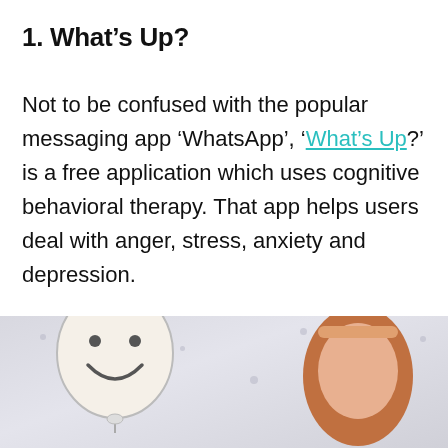1. What's Up?
Not to be confused with the popular messaging app 'WhatsApp', 'What's Up?' is a free application which uses cognitive behavioral therapy. That app helps users deal with anger, stress, anxiety and depression.
[Figure (photo): Photo showing a person holding a large yellow smiley face balloon against a light grey background with small dots]